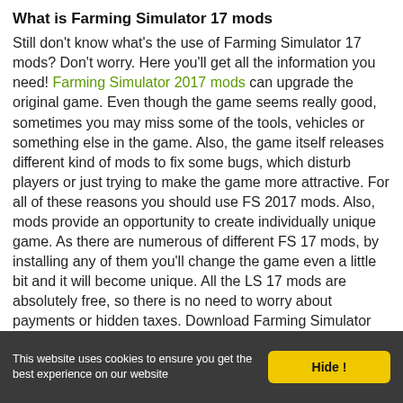What is Farming Simulator 17 mods
Still don't know what's the use of Farming Simulator 17 mods? Don't worry. Here you'll get all the information you need! Farming Simulator 2017 mods can upgrade the original game. Even though the game seems really good, sometimes you may miss some of the tools, vehicles or something else in the game. Also, the game itself releases different kind of mods to fix some bugs, which disturb players or just trying to make the game more attractive. For all of these reasons you should use FS 2017 mods. Also, mods provide an opportunity to create individually unique game. As there are numerous of different FS 17 mods, by installing any of them you'll change the game even a little bit and it will become unique. All the LS 17 mods are absolutely free, so there is no need to worry about payments or hidden taxes. Download Farming Simulator 2017 mods now and dive into the most exciting adventures of your life!
This website uses cookies to ensure you get the best experience on our website